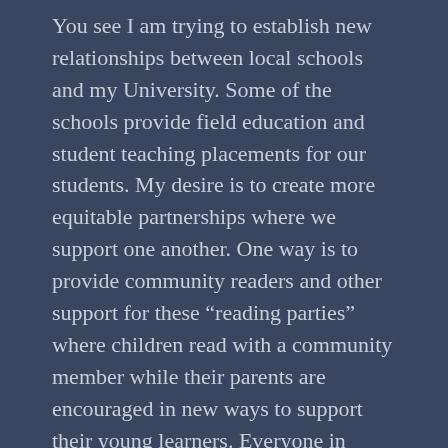You see I am trying to establish new relationships between local schools and my University. Some of the schools provide field education and student teaching placements for our students. My desire is to create more equitable partnerships where we support one another. One way is to provide community readers and other support for these “reading parties” where children read with a community member while their parents are encouraged in new ways to support their young learners. Everyone in attendance shares a meal together and the children leave with a new book and a stuffed animal. For these teacher candidates and me, this is an incredible opportunity to share this time with these children and their parents.
As I drove, my phone was next to me giving directions when a text message from Janelle popped up. She simply